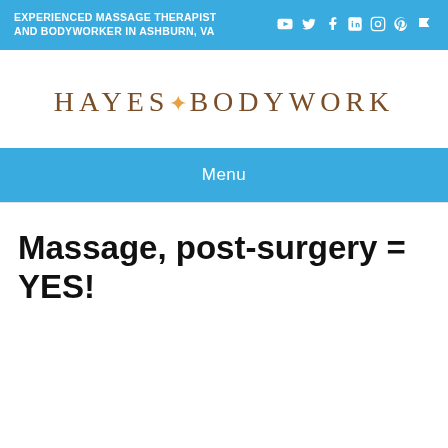EXPERIENCED MASSAGE THERAPIST AND BODYWORKER IN ASHBURN, VA
[Figure (logo): HAYES BODYWORK logo with a star/asterisk between the two words, in brown/tan serif lettering on white background]
Menu
Massage, post-surgery = YES!